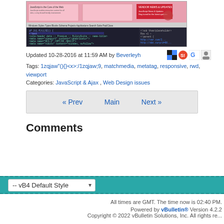[Figure (screenshot): Screenshot of a web page showing pink/red content panels and a code editor with dark background]
Updated 10-28-2016 at 11:59 AM by Beverleyh
Tags: 1zqjaw"(){}<x>:/1zqjaw;9, matchmedia, metatag, responsive, rwd, viewport
Categories: JavaScript & Ajax , Web Design issues
« Prev   Main   Next »
Comments
-- vB4 Default Style
All times are GMT. The time now is 02:40 PM.
Powered by vBulletin® Version 4.2.2 Copyright © 2022 vBulletin Solutions, Inc. All rights re...